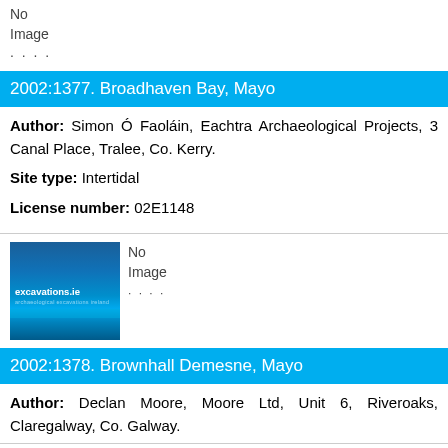[Figure (logo): excavations.ie logo placeholder with 'No Image available' text (top card, partially visible)]
2002:1377. Broadhaven Bay, Mayo
Author: Simon Ó Faoláin, Eachtra Archaeological Projects, 3 Canal Place, Tralee, Co. Kerry.
Site type: Intertidal
License number: 02E1148
[Figure (logo): excavations.ie logo with blue gradient background and logo text]
No
Image
available
2002:1378. Brownhall Demesne, Mayo
Author: Declan Moore, Moore Ltd, Unit 6, Riveroaks, Claregalway, Co. Galway.